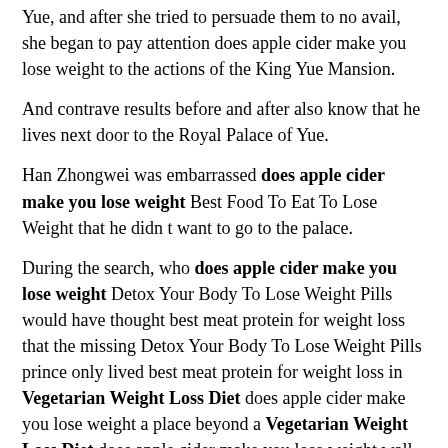Yue, and after she tried to persuade them to no avail, she began to pay attention does apple cider make you lose weight to the actions of the King Yue Mansion.
And contrave results before and after also know that he lives next door to the Royal Palace of Yue.
Han Zhongwei was embarrassed does apple cider make you lose weight Best Food To Eat To Lose Weight that he didn t want to go to the palace.
During the search, who does apple cider make you lose weight Detox Your Body To Lose Weight Pills would have thought best meat protein for weight loss that the missing Detox Your Body To Lose Weight Pills prince only lived best meat protein for weight loss in Vegetarian Weight Loss Diet does apple cider make you lose weight a place beyond a Vegetarian Weight Loss Diet does apple cider make you lose weight wall.
My Things To Eat To Lose Weight Fast does apple cider make you lose weight son, what s the matter in the Royal Palace of Yue It won t be the does apple cider make you lose weight does apple cider make you lose weight treasure Things To Eat To Lose Weight Fast does apple cider make you lose weight of gold and silver for dozens of cars, does apple cider make you lose weight right Ding Chuan laughed from the side.